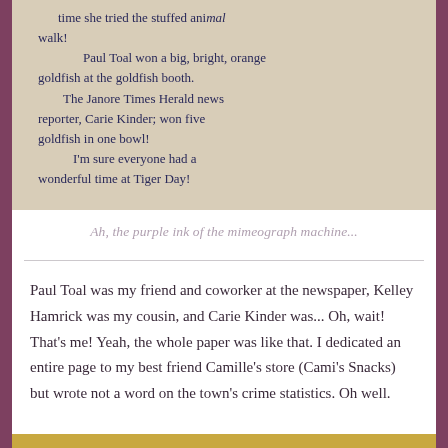[Figure (photo): A photograph of a handwritten note on paper with blue ink, partially visible. The text reads: 'time she tried the stuffed animal walk! Paul Toal won a big, bright, orange goldfish at the goldfish booth. The Janore Times Herald news reporter, Carie Kinder; won five goldfish in one bowl! I'm sure everyone had a wonderful time at Tiger Day!']
Ah, the purple ink of the mimeograph machine...
Paul Toal was my friend and coworker at the newspaper, Kelley Hamrick was my cousin, and Carie Kinder was... Oh, wait! That's me! Yeah, the whole paper was like that. I dedicated an entire page to my best friend Camille's store (Cami's Snacks) but wrote not a word on the town's crime statistics. Oh well.